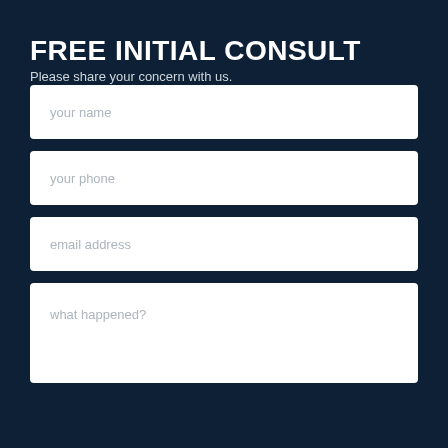FREE INITIAL CONSULT
Please share your concern with us.
your name
your phone
email address
what happened?